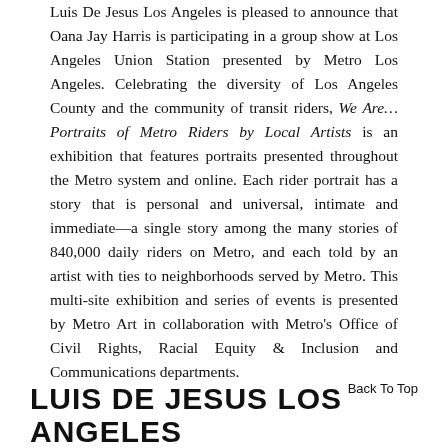Luis De Jesus Los Angeles is pleased to announce that Oana Jay Harris is participating in a group show at Los Angeles Union Station presented by Metro Los Angeles. Celebrating the diversity of Los Angeles County and the community of transit riders, We Are… Portraits of Metro Riders by Local Artists is an exhibition that features portraits presented throughout the Metro system and online. Each rider portrait has a story that is personal and universal, intimate and immediate—a single story among the many stories of 840,000 daily riders on Metro, and each told by an artist with ties to neighborhoods served by Metro. This multi-site exhibition and series of events is presented by Metro Art in collaboration with Metro's Office of Civil Rights, Racial Equity & Inclusion and Communications departments.
Back To Top
LUIS DE JESUS LOS ANGELES